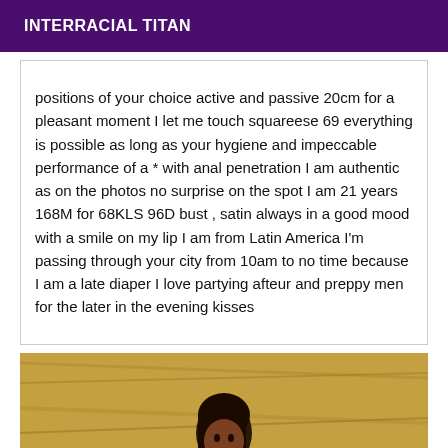INTERRACIAL TITAN
positions of your choice active and passive 20cm for a pleasant moment I let me touch squareese 69 everything is possible as long as your hygiene and impeccable performance of a * with anal penetration I am authentic as on the photos no surprise on the spot I am 21 years 168M for 68KLS 96D bust , satin always in a good mood with a smile on my lip I am from Latin America I'm passing through your city from 10am to no time because I am a late diaper I love partying afteur and preppy men for the later in the evening kisses
[Figure (photo): Photo of a woman with dark hair sitting against a wooden background]